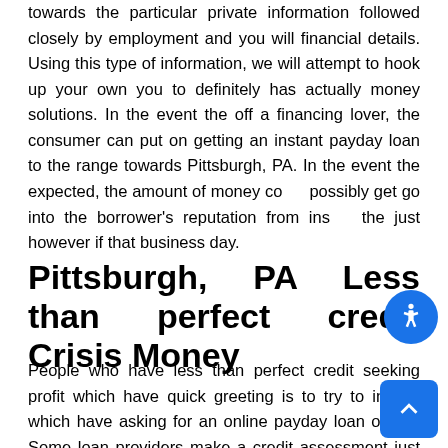towards the particular private information followed closely by employment and you will financial details. Using this type of information, we will attempt to hook up your own you to definitely has actually money solutions. In the event the off a financing lover, the consumer can put on getting an instant payday loan to the range towards Pittsburgh, PA. In the event the expected, the amount of money could possibly get go into the borrower's reputation from inside the just however if that business day.
Pittsburgh, PA Less than perfect credit Crisis Money
People who have less than perfect credit seeking profit which have quick greeting is to try to initiate which have asking for an online payday loan online. Some loan providers make a credit assessment just before stretching capital during the order in order to a buyers, payday loans organization could possibly get provide to the people with down fico scores